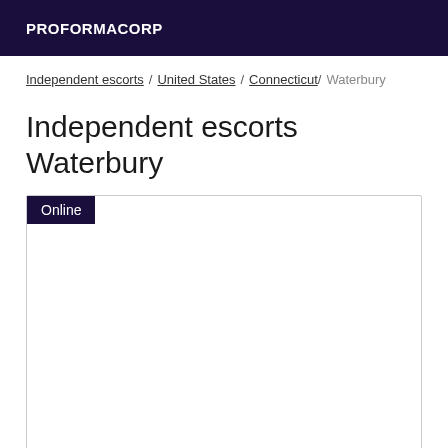PROFORMACORP
Independent escorts / United States / Connecticut / Waterbury
Independent escorts Waterbury
[Figure (other): Listing card with Online badge and empty content area]